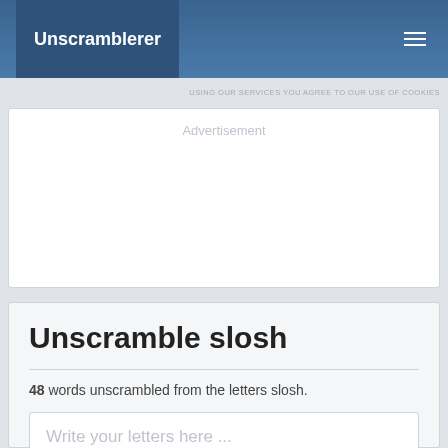Unscramblerer
USING OUR SERVICES YOU AGREE TO OUR USE OF COOKIES
[Figure (other): Advertisement placeholder box]
Unscramble slosh
48 words unscrambled from the letters slosh.
Write your letters here ...